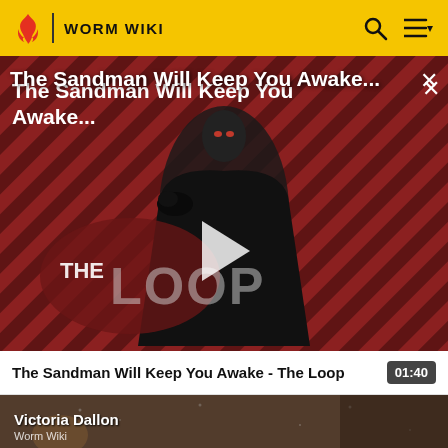WORM WIKI
[Figure (screenshot): Video thumbnail for 'The Sandman Will Keep You Awake - The Loop', showing a dark-dressed figure with a crow against a red and black diagonal striped background with 'THE LOOP' text overlay and a play button in the center.]
The Sandman Will Keep You Awake...
The Sandman Will Keep You Awake - The Loop  01:40
[Figure (screenshot): Partial thumbnail of next video showing 'Victoria Dallon' with a dark background scene, labeled 'Worm Wiki'.]